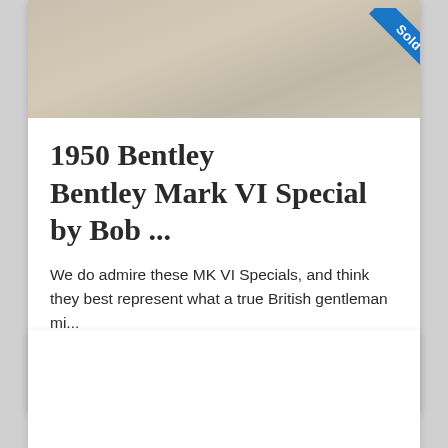[Figure (photo): Partial view of a classic car on a sandy/concrete surface with a blue 'Sold' ribbon in the top-right corner]
1950 Bentley Bentley Mark VI Special by Bob ...
We do admire these MK VI Specials, and think they best represent what a true British gentleman mi...
Previously Sold